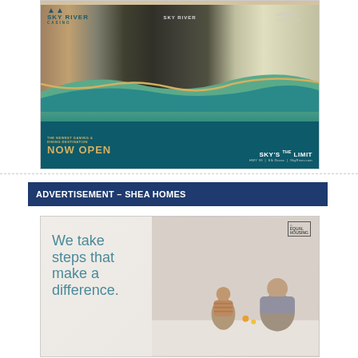[Figure (photo): Sky River Casino advertisement showing building exterior with 'NOW OPEN' text, teal wave design, tagline 'THE NEWEST GAMING & DINING DESTINATION', and info 'SKY'S THE LIMIT | HWY 99 | Elk Grove | SkyRiver.com']
ADVERTISEMENT – SHEA HOMES
[Figure (photo): Shea Homes advertisement with text 'We take steps that make a difference.' and photo of a child running toward an adult sitting on floor]